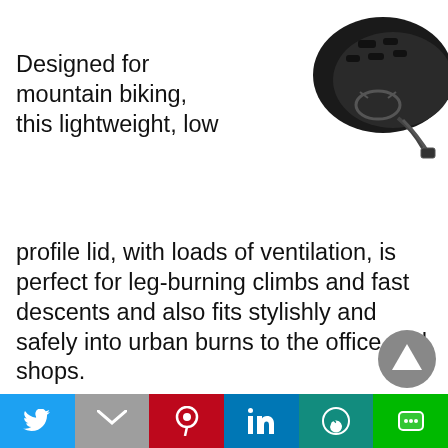[Figure (photo): Black mountain bike helmet viewed from rear/side angle, top of page]
Designed for mountain biking, this lightweight, low profile lid, with loads of ventilation, is perfect for leg-burning climbs and fast descents and also fits stylishly and safely into urban burns to the office and shops.
100% – Altec
Distributor:
Silverfish
[Figure (photo): Grey 100Percent Altec mountain bike helmet viewed from side, lower portion of page]
[Figure (other): Scroll-to-top circular button with triangle arrow]